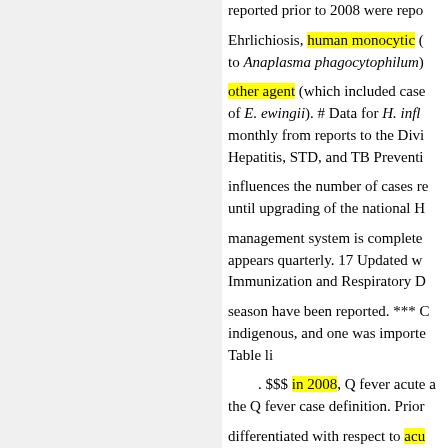reported prior to 2008 were repo... Ehrlichiosis, human monocytic (... to Anaplasma phagocytophilum)... other agent (which included case... of E. ewingii). # Data for H. infl... monthly from reports to the Divi... Hepatitis, STD, and TB Preventi... influences the number of cases re... until upgrading of the national H... management system is complete... appears quarterly. 17 Updated w... Immunization and Respiratory D... season have been reported. *** C... indigenous, and one was importe... Table li . $$$ in 2008, Q fever acute a... the Q fever case definition. Prior... differentiated with respect to acu... current week was imported. *** ... Diseases, National Center for Zo...